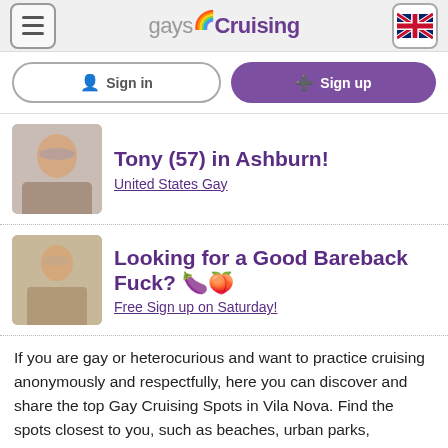gaysCruising
Sign in  Sign up
[Figure (photo): Profile photo of Tony, older bald man, shirtless]
Tony (57) in Ashburn!
United States Gay
[Figure (photo): Advertisement photo of young man shirtless]
Looking for a Good Bareback Fuck? 🍆🍑
Free Sign up on Saturday!
If you are gay or heterocurious and want to practice cruising anonymously and respectfully, here you can discover and share the top Gay Cruising Spots in Vila Nova. Find the spots closest to you, such as beaches, urban parks, wastelands, forests, as well as public places such as bathrooms and highway rest areas,